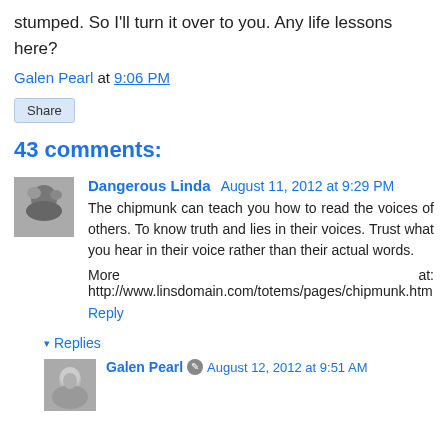stumped. So I'll turn it over to you. Any life lessons here?
Galen Pearl at 9:06 PM
Share
43 comments:
Dangerous Linda August 11, 2012 at 9:29 PM
The chipmunk can teach you how to read the voices of others. To know truth and lies in their voices. Trust what you hear in their voice rather than their actual words.
More at: http://www.linsdomain.com/totems/pages/chipmunk.htm
Reply
▾ Replies
Galen Pearl August 12, 2012 at 9:51 AM